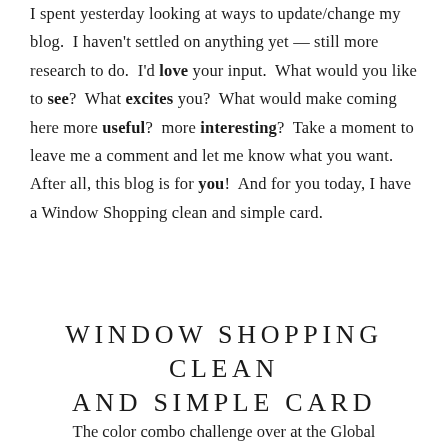I spent yesterday looking at ways to update/change my blog.  I haven't settled on anything yet — still more research to do.  I'd love your input.  What would you like to see?  What excites you?  What would make coming here more useful?  more interesting?  Take a moment to leave me a comment and let me know what you want.  After all, this blog is for you!  And for you today, I have a Window Shopping clean and simple card.
WINDOW SHOPPING CLEAN AND SIMPLE CARD
The color combo challenge over at the Global